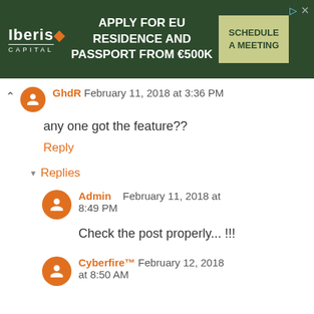[Figure (screenshot): Advertisement banner for Iberis Capital: 'Apply for EU Residence and Passport from €500K - Schedule a Meeting']
GhdR February 11, 2018 at 3:36 PM
any one got the feature??
Reply
Replies
Admin February 11, 2018 at 8:49 PM
Check the post properly... !!!
Cyberfire™ February 12, 2018 at 8:50 AM